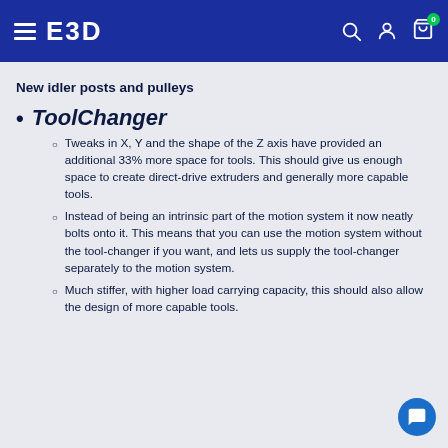E3D — navigation header with hamburger menu, logo, search, account, and cart icons
New idler posts and pulleys
ToolChanger
Tweaks in X, Y and the shape of the Z axis have provided an additional 33% more space for tools. This should give us enough space to create direct-drive extruders and generally more capable tools.
Instead of being an intrinsic part of the motion system it now neatly bolts onto it. This means that you can use the motion system without the tool-changer if you want, and lets us supply the tool-changer separately to the motion system.
Much stiffer, with higher load carrying capacity, this should also allow the design of more capable tools.